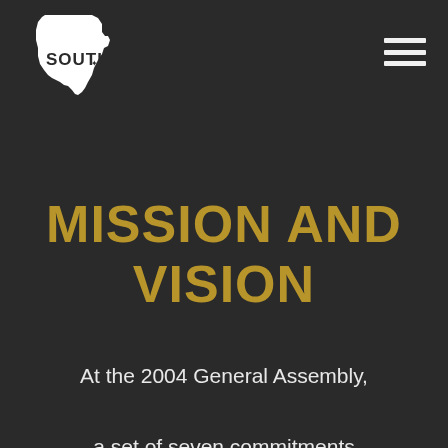[Figure (logo): White silhouette of the state of Georgia with the word SOUTH in bold dark letters inside]
[Figure (other): Hamburger menu icon with three horizontal white lines]
MISSION AND VISION
At the 2004 General Assembly, a set of seven commitments was adopted which reflects the